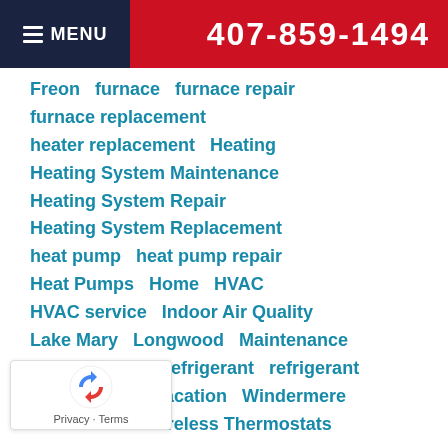MENU  407-859-1494
Freon   furnace   furnace repair   furnace replacement   heater replacement   Heating   Heating System Maintenance   Heating System Repair   Heating System Replacement   heat pump   heat pump repair   Heat Pumps   Home   HVAC   HVAC service   Indoor Air Quality   Lake Mary   Longwood   Maintenance   Orlando   R-22 Refrigerant   refrigerant   Thermostats   Vacation   Windermere   Winter Park   Wireless Thermostats
[Figure (logo): reCAPTCHA logo with Privacy and Terms links]